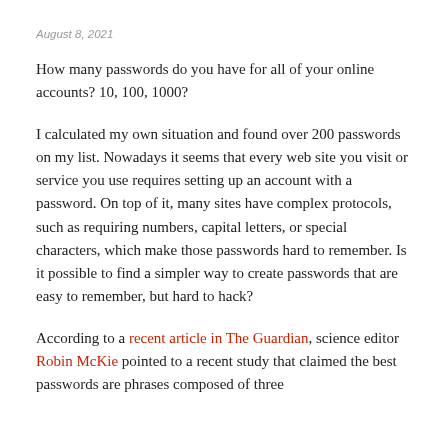August 8, 2021
How many passwords do you have for all of your online accounts? 10, 100, 1000?
I calculated my own situation and found over 200 passwords on my list. Nowadays it seems that every web site you visit or service you use requires setting up an account with a password. On top of it, many sites have complex protocols, such as requiring numbers, capital letters, or special characters, which make those passwords hard to remember. Is it possible to find a simpler way to create passwords that are easy to remember, but hard to hack?
According to a recent article in The Guardian, science editor Robin McKie pointed to a recent study that claimed the best passwords are phrases composed of three